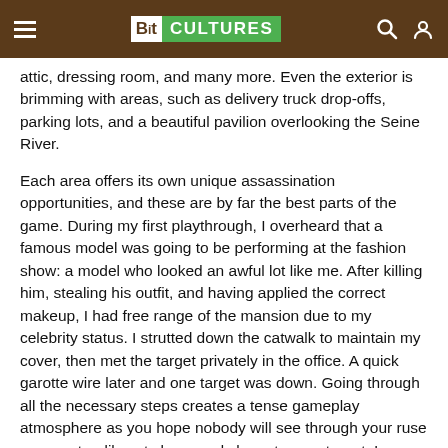Bit Cultures
attic, dressing room, and many more. Even the exterior is brimming with areas, such as delivery truck drop-offs, parking lots, and a beautiful pavilion overlooking the Seine River.
Each area offers its own unique assassination opportunities, and these are by far the best parts of the game. During my first playthrough, I overheard that a famous model was going to be performing at the fashion show: a model who looked an awful lot like me. After killing him, stealing his outfit, and having applied the correct makeup, I had free range of the mansion due to my celebrity status. I strutted down the catwalk to maintain my cover, then met the target privately in the office. A quick garotte wire later and one target was down. Going through all the necessary steps creates a tense gameplay atmosphere as you hope nobody will see through your ruse as you steadily get closer and closer to your target. In my second playthrough, I stole a Sheikh's disguise and infiltrated a secret auction where global power players were bidding on state secrets. It felt like something out of a Bond movie. Successfully bidding on a secret led to a private meeting with the target. Two silenced shots later and my target was eliminated.